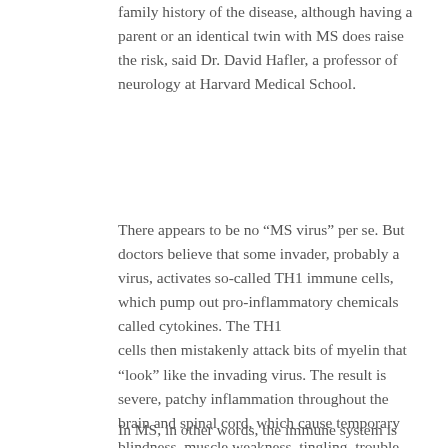family history of the disease, although having a parent or an identical twin with MS does raise the risk, said Dr. David Hafler, a professor of neurology at Harvard Medical School.
There appears to be no “MS virus” per se. But doctors believe that some invader, probably a virus, activates so-called TH1 immune cells, which pump out pro-inflammatory chemicals called cytokines. The TH1 cells then mistakenly attack bits of myelin that “look” like the invading virus. The result is severe, patchy inflammation throughout the brain and spinal cord, which cause temporary blindness, muscle weakness, tingling, trouble walking and double vision. TH1 cells also get into the brain, destroying myelin in brain cells, which causes problems in thinking.
In MS, in other words, the immune system is out of